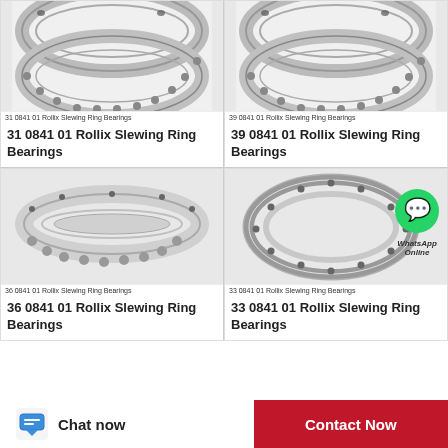[Figure (photo): Slewing ring bearing product photo for 31 0841 01 Rollix]
31 0841 01 Rollix Slewing Ring Bearings
31 0841 01 Rollix Slewing Ring Bearings
[Figure (photo): Slewing ring bearing product photo for 39 0841 01 Rollix]
39 0841 01 Rollix Slewing Ring Bearings
39 0841 01 Rollix Slewing Ring Bearings
[Figure (photo): Slewing ring bearing product photo for 36 0841 01 Rollix]
36 0841 01 Rollix Slewing Ring Bearings
36 0841 01 Rollix Slewing Ring Bearings
[Figure (photo): Slewing ring bearing product photo for 33 0841 01 Rollix, with WhatsApp Online overlay]
33 0841 01 Rollix Slewing Ring Bearings
33 0841 01 Rollix Slewing Ring Bearings
Chat now
Contact Now